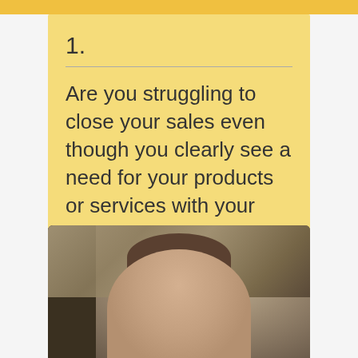1.
Are you struggling to close your sales even though you clearly see a need for your products or services with your clients?
[Figure (photo): Portrait photo of a woman with short brown hair, standing in front of rocky background outdoors]